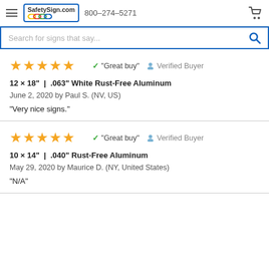SafetySign.com 800-274-5271
Search for signs that say...
★★★★★  ✓ "Great buy"  Verified Buyer
12 × 18" | .063" White Rust-Free Aluminum
June 2, 2020 by Paul S. (NV, US)
"Very nice signs."
★★★★★  ✓ "Great buy"  Verified Buyer
10 × 14" | .040" Rust-Free Aluminum
May 29, 2020 by Maurice D. (NY, United States)
"N/A"